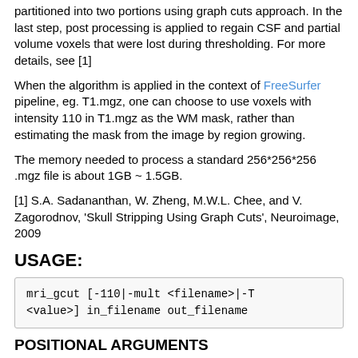partitioned into two portions using graph cuts approach. In the last step, post processing is applied to regain CSF and partial volume voxels that were lost during thresholding. For more details, see [1]
When the algorithm is applied in the context of FreeSurfer pipeline, eg. T1.mgz, one can choose to use voxels with intensity 110 in T1.mgz as the WM mask, rather than estimating the mask from the image by region growing.
The memory needed to process a standard 256*256*256 .mgz file is about 1GB ~ 1.5GB.
[1] S.A. Sadananthan, W. Zheng, M.W.L. Chee, and V. Zagorodnov, 'Skull Stripping Using Graph Cuts', Neuroimage, 2009
USAGE:
mri_gcut [-110|-mult <filename>|-T <value>] in_filename out_filename
POSITIONAL ARGUMENTS